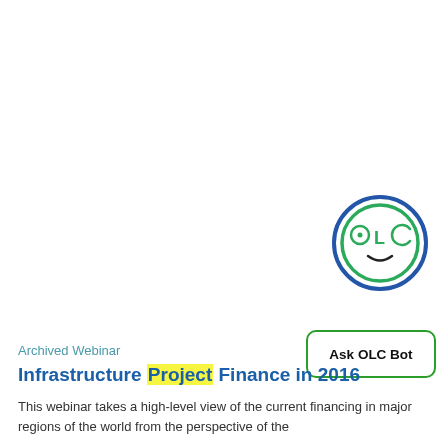[Figure (logo): OLC Bot logo: a circular face with blue outer ring, green inner ring, two circular eyes labeled O and C with L between them, and a small curved smile line]
[Figure (other): Ask OLC Bot button with green rounded rectangle border]
Archived Webinar
Infrastructure Project Finance in 2016
This webinar takes a high-level view of the current financing in major regions of the world from the perspective of the